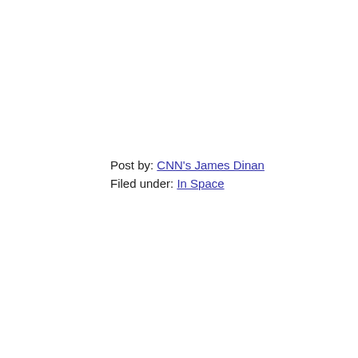Post by: CNN's James Dinan
Filed under: In Space